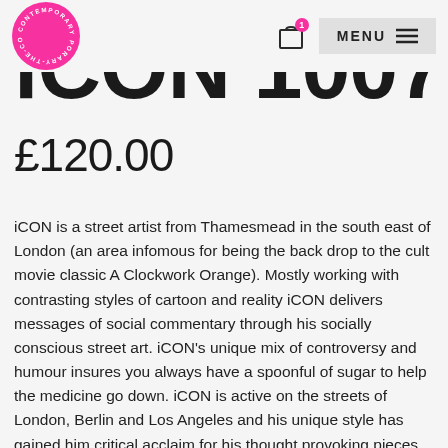MENU (navigation bar with logo and cart)
iCON (partially visible)
£120.00
iCON is a street artist from Thamesmead in the south east of London (an area infomous for being the back drop to the cult movie classic A Clockwork Orange). Mostly working with contrasting styles of cartoon and reality iCON delivers messages of social commentary through his socially conscious street art. iCON's unique mix of controversy and humour insures you always have a spoonful of sugar to help the medicine go down. iCON is active on the streets of London, Berlin and Los Angeles and his unique style has gained him critical acclaim for his thought provoking pieces. iCON is a purest, holding street art culture closely to his heart and believing that art can change anything. iCON's identity remains unknown. A huge London solo show beckons along with further international exposure will continue the rapid rise